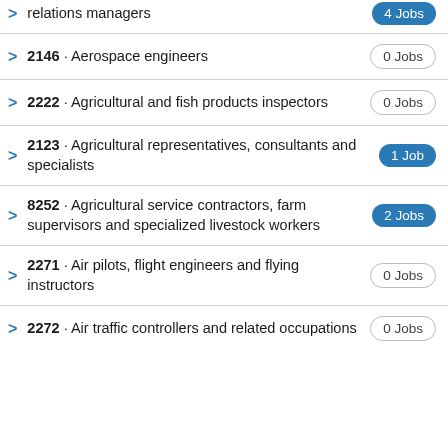relations managers — 4 Jobs
2146 · Aerospace engineers — 0 Jobs
2222 · Agricultural and fish products inspectors — 0 Jobs
2123 · Agricultural representatives, consultants and specialists — 1 Job
8252 · Agricultural service contractors, farm supervisors and specialized livestock workers — 2 Jobs
2271 · Air pilots, flight engineers and flying instructors — 0 Jobs
2272 · Air traffic controllers and related occupations — 0 Jobs